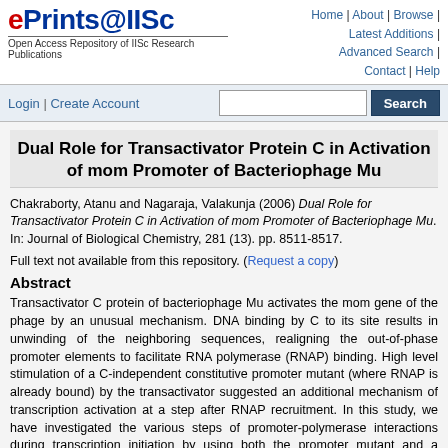ePrints@IISc — Open Access Repository of IISc Research Publications | Home | About | Browse | Latest Additions | Advanced Search | Contact | Help
Login | Create Account [Search]
Dual Role for Transactivator Protein C in Activation of mom Promoter of Bacteriophage Mu
Chakraborty, Atanu and Nagaraja, Valakunja (2006) Dual Role for Transactivator Protein C in Activation of mom Promoter of Bacteriophage Mu. In: Journal of Biological Chemistry, 281 (13). pp. 8511-8517.
Full text not available from this repository. (Request a copy)
Abstract
Transactivator C protein of bacteriophage Mu activates the mom gene of the phage by an unusual mechanism. DNA binding by C to its site results in unwinding of the neighboring sequences, realigning the out-of-phase promoter elements to facilitate RNA polymerase (RNAP) binding. High level stimulation of a C-independent constitutive promoter mutant (where RNAP is already bound) by the transactivator suggested an additional mechanism of transcription activation at a step after RNAP recruitment. In this study, we have investigated the various steps of promoter-polymerase interactions during transcription initiation by using both the promoter mutant and a positive control (pc) mutant of C protein. The transactivator does not influence formation of the open complex or its stability after facilitating the RNAP binding. However, at a